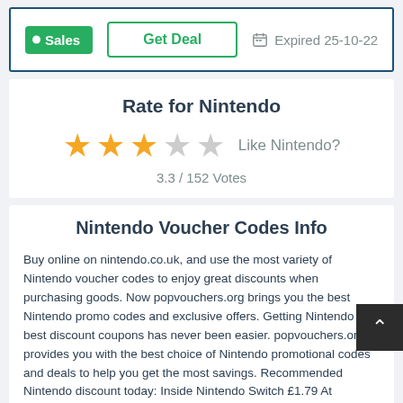[Figure (other): Deal card with Sales badge, Get Deal button, and Expired 25-10-22 text]
Rate for Nintendo
[Figure (other): 3 filled gold stars, 2 empty gray stars, 'Like Nintendo?' text, 3.3 / 152 Votes]
Nintendo Voucher Codes Info
Buy online on nintendo.co.uk, and use the most variety of Nintendo voucher codes to enjoy great discounts when purchasing goods. Now popvouchers.org brings you the best Nintendo promo codes and exclusive offers. Getting Nintendo best discount coupons has never been easier. popvouchers.org provides you with the best choice of Nintendo promotional codes and deals to help you get the most savings. Recommended Nintendo discount today: Inside Nintendo Switch £1.79 At Nintendo EShop.